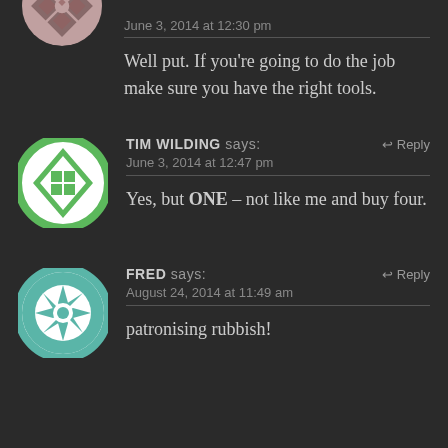[Figure (illustration): Partial avatar icon - pink/mauve geometric diamond pattern circle, cropped at top]
June 3, 2014 at 12:30 pm
Well put. If you're going to do the job make sure you have the right tools.
[Figure (illustration): Avatar icon - green and white geometric diamond pattern circle for Tim Wilding]
TIM WILDING says:
↩ Reply
June 3, 2014 at 12:47 pm
Yes, but ONE – not like me and buy four.
[Figure (illustration): Avatar icon - teal/green and white geometric star pattern circle for Fred]
FRED says:
↩ Reply
August 24, 2014 at 11:49 am
patronising rubbish!